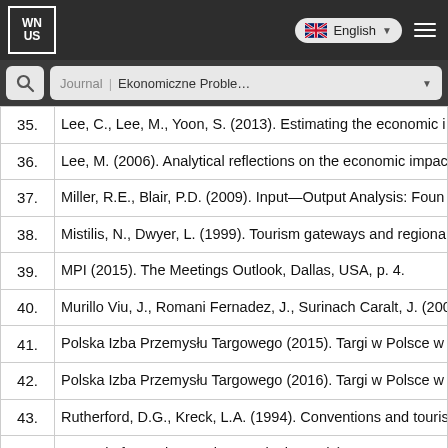WNUS | Journal: Ekonomiczne Problemy | English
| No. | Reference |
| --- | --- |
| 35. | Lee, C., Lee, M., Yoon, S. (2013). Estimating the economic i… |
| 36. | Lee, M. (2006). Analytical reflections on the economic impac… |
| 37. | Miller, R.E., Blair, P.D. (2009). Input—Output Analysis: Foun… |
| 38. | Mistilis, N., Dwyer, L. (1999). Tourism gateways and regiona… |
| 39. | MPI (2015). The Meetings Outlook, Dallas, USA, p. 4. |
| 40. | Murillo Viu, J., Romani Fernadez, J., Surinach Caralt, J. (200… |
| 41. | Polska Izba Przemysłu Targowego (2015). Targi w Polsce w… |
| 42. | Polska Izba Przemysłu Targowego (2016). Targi w Polsce w… |
| 43. | Rutherford, D.G., Kreck, L.A. (1994). Conventions and touris… |
| 44. | Journal of Travel & Tourism Marketing, 1 (3), 49-63. |